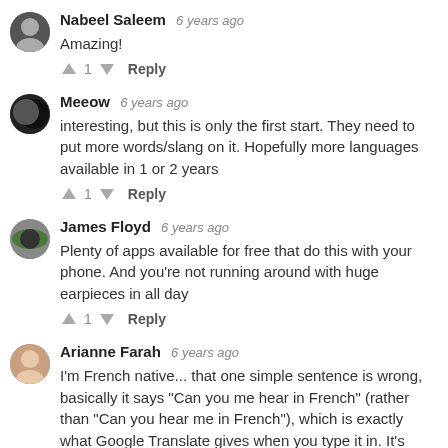Nabeel Saleem  6 years ago
Amazing!
↑ 1 ↓  Reply
Meeow  6 years ago
interesting, but this is only the first start. They need to put more words/slang on it. Hopefully more languages available in 1 or 2 years
↑ 1 ↓  Reply
James Floyd  6 years ago
Plenty of apps available for free that do this with your phone. And you're not running around with huge earpieces in all day
↑ 1 ↓  Reply
Arianne Farah  6 years ago
I'm French native... that one simple sentence is wrong, basically it says "Can you me hear in French" (rather than "Can you hear me in French"), which is exactly what Google Translate gives when you type it in. It's hundreds of dollars for a bluetooth earpiece that streams free software.
↑ 1 ↓  Reply
Mark Malicki  6 years ago